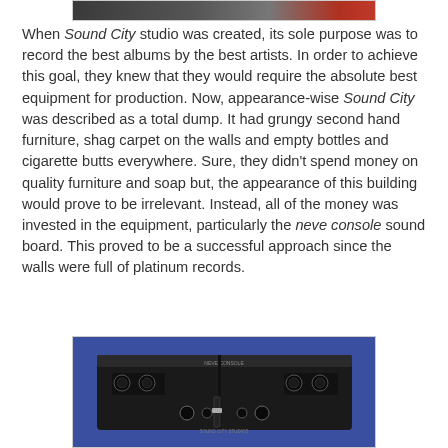[Figure (photo): Top portion of a photograph, partially cropped, showing a dark image with a red element on the right side.]
When Sound City studio was created, its sole purpose was to record the best albums by the best artists. In order to achieve this goal, they knew that they would require the absolute best equipment for production. Now, appearance-wise Sound City was described as a total dump. It had grungy second hand furniture, shag carpet on the walls and empty bottles and cigarette butts everywhere. Sure, they didn't spend money on quality furniture and soap but, the appearance of this building would prove to be irrelevant. Instead, all of the money was invested in the equipment, particularly the neve console sound board. This proved to be a successful approach since the walls were full of platinum records.
[Figure (photo): Photograph of a neve console sound board equipment, dark colored with knobs and controls, set against a blue background.]